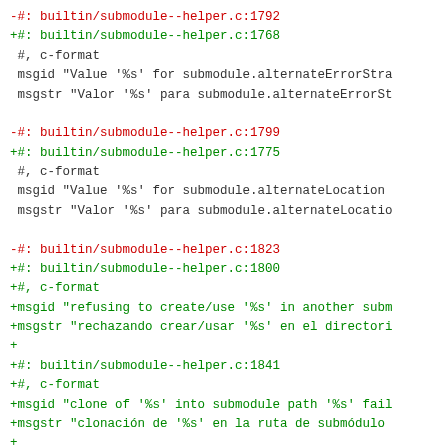-#: builtin/submodule--helper.c:1792
+#: builtin/submodule--helper.c:1768
 #, c-format
 msgid "Value '%s' for submodule.alternateErrorStra
 msgstr "Valor '%s' para submodule.alternateErrorSt

-#: builtin/submodule--helper.c:1799
+#: builtin/submodule--helper.c:1775
 #, c-format
 msgid "Value '%s' for submodule.alternateLocation
 msgstr "Valor '%s' para submodule.alternateLocatio

-#: builtin/submodule--helper.c:1823
+#: builtin/submodule--helper.c:1800
+#, c-format
+msgid "refusing to create/use '%s' in another subm
+msgstr "rechazando crear/usar '%s' en el directori
+
+#: builtin/submodule--helper.c:1841
+#, c-format
+msgid "clone of '%s' into submodule path '%s' fail
+msgstr "clonación de '%s' en la ruta de submódulo
+
+#: builtin/submodule--helper.c:1846
+#, c-format
+msgid "directory not empty: '%s'"
+msgstr "directorio no está vacio: '%s'"
+
+#: builtin/submodule--helper.c:1858